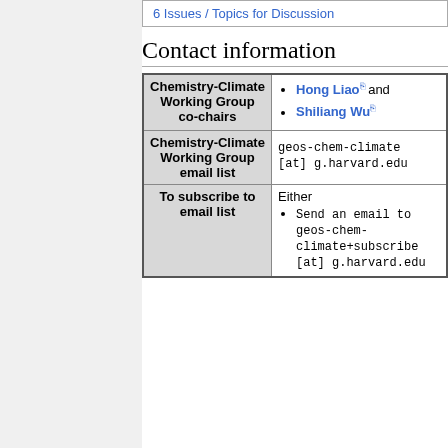6 Issues / Topics for Discussion
Contact information
|  |  |
| --- | --- |
| Chemistry-Climate Working Group co-chairs | Hong Liao [external link] and
Shiliang Wu [external link] |
| Chemistry-Climate Working Group email list | geos-chem-climate [at] g.harvard.edu |
| To subscribe to email list | Either
• Send an email to geos-chem-climate+subscribe [at] g.harvard.edu |